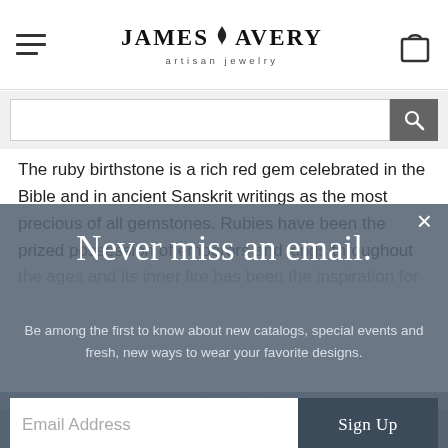[Figure (logo): James Avery Artisan Jewelry logo with flame icon]
[Figure (screenshot): Search bar with text input and search button]
The ruby birthstone is a rich red gem celebrated in the Bible and in ancient Sanskrit writings as the most precious of all gemstones. Rubies have been the prized possession of emperors and kings throughout the ages and its inner fire has been the inspiration for innumerable legends and myths. To this day rubies...
Never miss an email.
Be among the first to know about new catalogs, special events and fresh, new ways to wear your favorite designs.
[Figure (screenshot): Email signup form with Email Address input and Sign Up button]